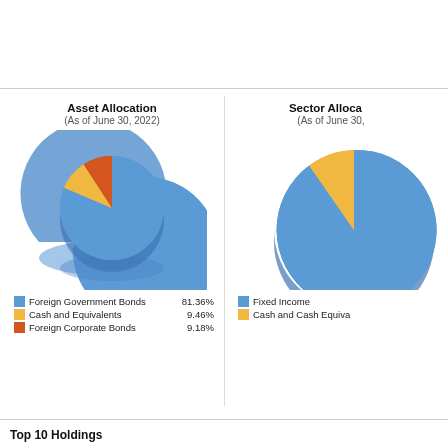[Figure (pie-chart): Asset Allocation]
[Figure (pie-chart): Sector Allocation]
Top 10 Holdings